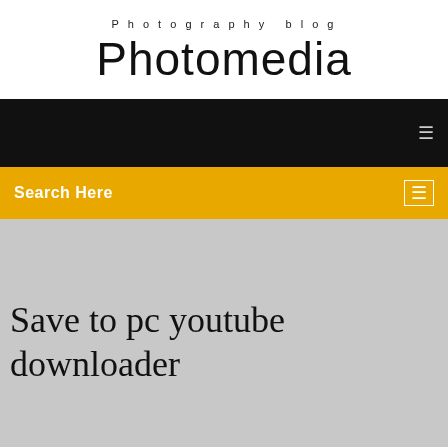Photography blog
Photomedia
[Figure (screenshot): Black navigation bar with a small icon on the right]
[Figure (screenshot): Golden/orange search bar with 'Search Here' text on the left and a small icon on the right]
Save to pc youtube downloader